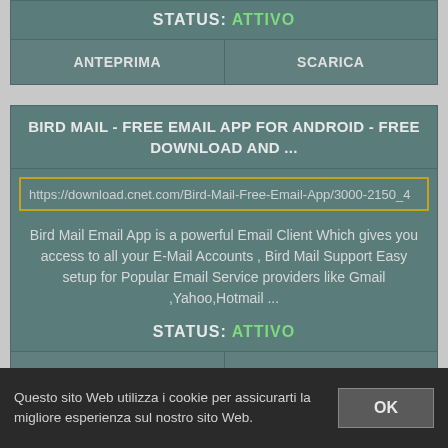STATUS: ATTIVO
| ANTEPRIMA | SCARICA |
| --- | --- |
BIRD MAIL - FREE EMAIL APP FOR ANDROID - FREE DOWNLOAD AND ...
https://download.cnet.com/Bird-Mail-Free-Email-App/3000-2150_4
Bird Mail Email App is a powerful Email Client Which gives you access to all your E-Mail Accounts , Bird Mail Support Easy setup for Popular Email Service providers like Gmail ,Yahoo,Hotmail ...
STATUS: ATTIVO
| ANTEPRIMA | SCARICA |
| --- | --- |
Questo sito Web utilizza i cookie per assicurarti la migliore esperienza sul nostro sito Web.